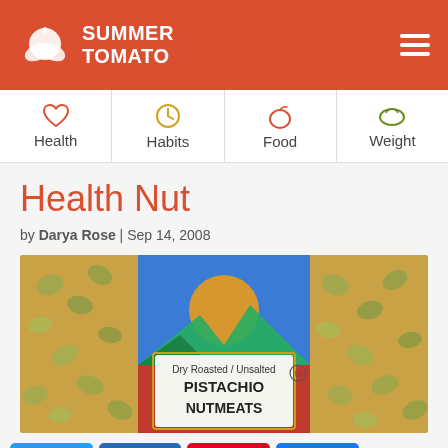SUMMER TOMATO
[Figure (illustration): Navigation bar with icons for Health (heart), Habits (clock), Food (apple), Weight (leaf/scale)]
Health Nut
by Darya Rose | Sep 14, 2008
[Figure (photo): Photo of a bag of Dry Roasted / Unsalted Pistachio Nutmeats — green pistachio nuts visible through packaging with colorful landscape label]
[Figure (infographic): Social sharing buttons: Twitter, LinkedIn, Pinterest, Facebook, and a share count showing 0 SHARES]